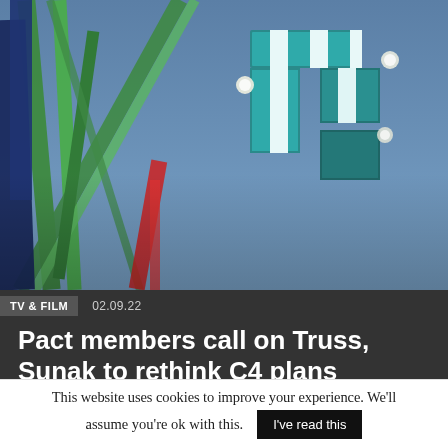[Figure (photo): Channel 4 logo sign illuminated against blue sky, with colorful structural elements (blue, green, red metal frames) in the foreground]
TV & FILM   02.09.22
Pact members call on Truss, Sunak to rethink C4 plans
This website uses cookies to improve your experience. We'll assume you're ok with this.
I've read this